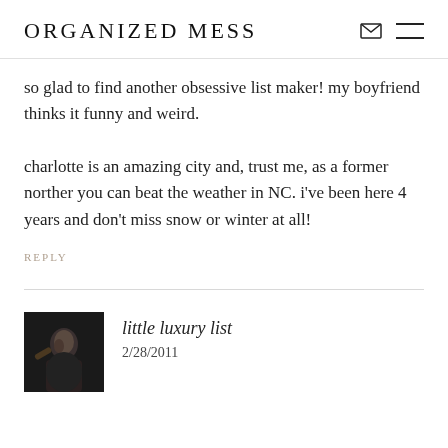ORGANIZED MESS
so glad to find another obsessive list maker! my boyfriend thinks it funny and weird.

charlotte is an amazing city and, trust me, as a former norther you can beat the weather in NC. i've been here 4 years and don't miss snow or winter at all!
REPLY
little luxury list
2/28/2011